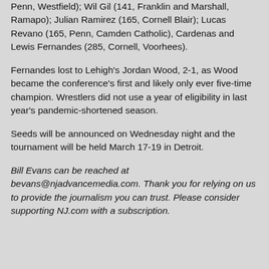Penn, Westfield); Wil Gil (141, Franklin and Marshall, Ramapo); Julian Ramirez (165, Cornell Blair); Lucas Revano (165, Penn, Camden Catholic), Cardenas and Lewis Fernandes (285, Cornell, Voorhees).
Fernandes lost to Lehigh's Jordan Wood, 2-1, as Wood became the conference's first and likely only ever five-time champion. Wrestlers did not use a year of eligibility in last year's pandemic-shortened season.
Seeds will be announced on Wednesday night and the tournament will be held March 17-19 in Detroit.
Bill Evans can be reached at bevans@njadvancemedia.com. Thank you for relying on us to provide the journalism you can trust. Please consider supporting NJ.com with a subscription.